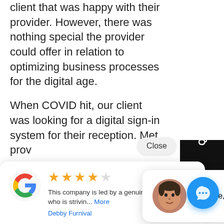client that was happy with their provider. However, there was nothing special the provider could offer in relation to optimizing business processes for the digital age.
When COVID hit, our client was looking for a digital sign-in system for their reception. Met[...] prov[...] us, a[...] man[...]
Close
Quick Enquiry
Hi there, have a question? Text us here.
This company is led by a genuine caring owner who is strivin... More
Debby Furnival
if any of these scenarios